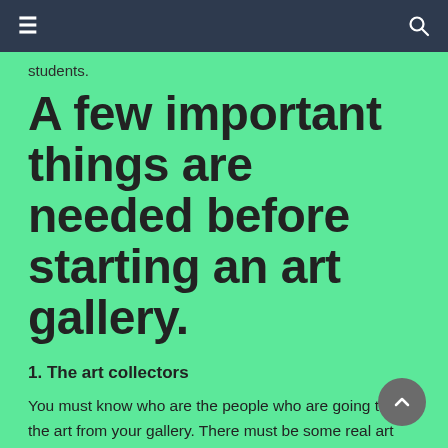≡   🔍
students.
A few important things are needed before starting an art gallery.
1. The art collectors
You must know who are the people who are going to buy the art from your gallery. There must be some real art lovers who could help you establish your gallery. Or if you have no contacts with such art collectors than your gallery will end up soon. The grants are also an essential